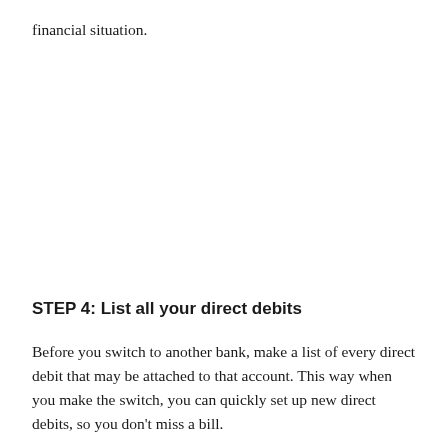financial situation.
STEP 4: List all your direct debits
Before you switch to another bank, make a list of every direct debit that may be attached to that account. This way when you make the switch, you can quickly set up new direct debits, so you don't miss a bill.